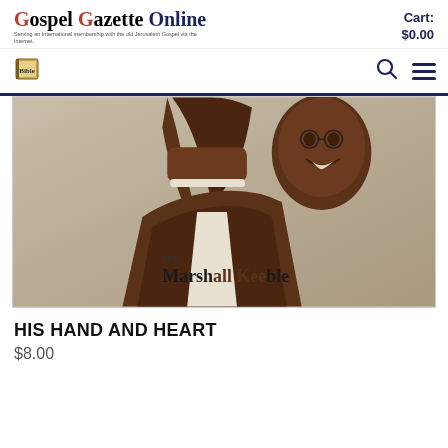Gospel Gazette Online — Serving an International membership with the old Jerusalem Gospel via the Internet. Cart: $0.00
[Figure (logo): Book icon logo for Gospel Gazette Online navigation bar]
[Figure (photo): Book cover photo showing a man with raised arm, text reading 'Marshall Keeble' partially visible]
HIS HAND AND HEART
$8.00